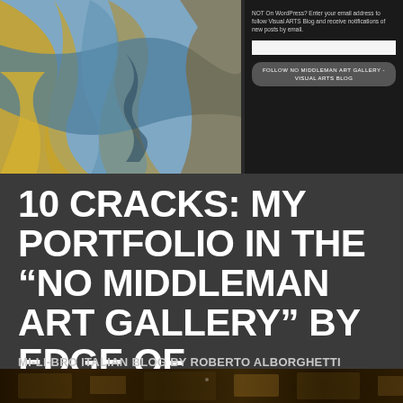[Figure (screenshot): Top portion of a webpage showing an abstract artwork panel on the left (blue and gold/orange colors) and a dark sidebar on the right with a WordPress email follow widget, email input field, and a 'Follow NO MIDDLEMAN ART GALLERY - VISUAL ARTS BLOG' button]
10 CRACKS: MY PORTFOLIO IN THE “NO MIDDLEMAN ART GALLERY” BY EDGE OF HUMANITY MAGAZINE
MI-LI-BRO ITALIAN BLOG BY ROBERTO ALBORGHETTI
[Figure (photo): Bottom strip of a dark photograph showing what appears to be an indoor scene with warm brown/amber tones, very dark and partially visible]